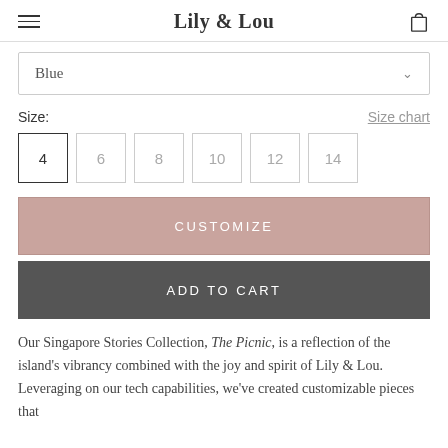Lily & Lou
Blue
Size: Size chart
4  6  8  10  12  14
CUSTOMIZE
ADD TO CART
Our Singapore Stories Collection, The Picnic, is a reflection of the island's vibrancy combined with the joy and spirit of Lily & Lou. Leveraging on our tech capabilities, we've created customizable pieces that